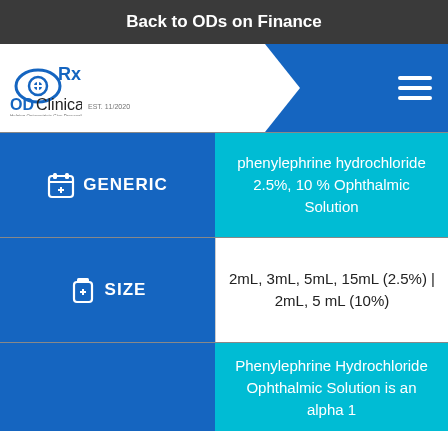Back to ODs on Finance
[Figure (logo): ODClinicals logo with eye and Rx icon, tagline: Helping Optometrists Give Personalized Care Time, EST. 11/2020]
| Category | Value |
| --- | --- |
| GENERIC | phenylephrine hydrochloride 2.5%, 10 % Ophthalmic Solution |
| SIZE | 2mL, 3mL, 5mL, 15mL (2.5%) | 2mL, 5 mL (10%) |
| (partial row) | Phenylephrine Hydrochloride Ophthalmic Solution is an alpha 1... |